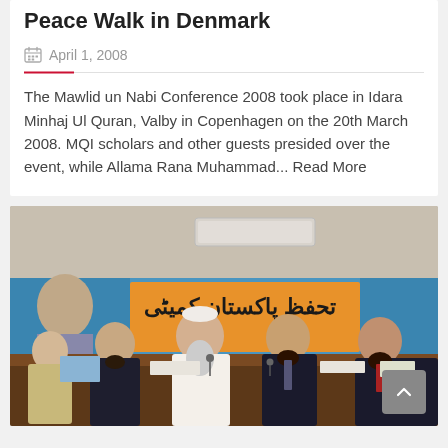Peace Walk in Denmark
April 1, 2008
The Mawlid un Nabi Conference 2008 took place in Idara Minhaj Ul Quran, Valby in Copenhagen on the 20th March 2008. MQI scholars and other guests presided over the event, while Allama Rana Muhammad... Read More
[Figure (photo): Group of five men in formal attire seated at a conference table in front of a banner with Urdu text. One man in the center wears a white shalwar kameez and cap.]